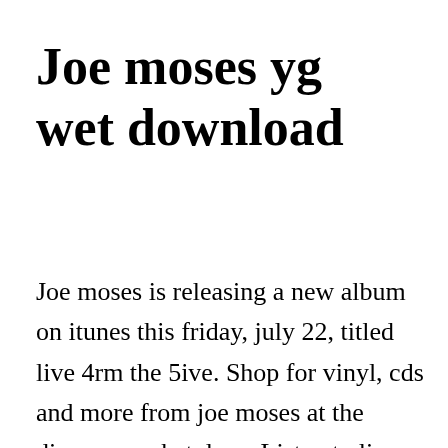Joe moses yg wet download
Joe moses is releasing a new album on itunes this friday, july 22, titled live 4rm the 5ive. Shop for vinyl, cds and more from joe moses at the discogs marketplace. Listen to live 4rom the 5ive from joe moses for free on spinrilla now. From nothing to something 2 mixtape by joe moses hosted by. This is the